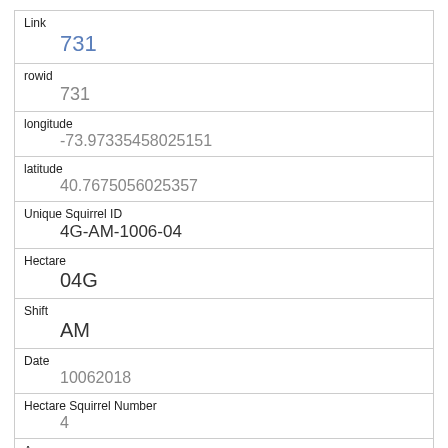| Field | Value |
| --- | --- |
| Link | 731 |
| rowid | 731 |
| longitude | -73.97335458025151 |
| latitude | 40.7675056025357 |
| Unique Squirrel ID | 4G-AM-1006-04 |
| Hectare | 04G |
| Shift | AM |
| Date | 10062018 |
| Hectare Squirrel Number | 4 |
| Age | Adult |